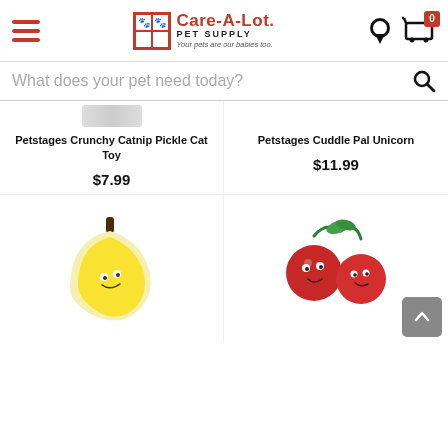[Figure (logo): Care-A-Lot Pet Supply logo with hamburger menu, location pin, and cart icon with badge showing 0]
What does your pet need today?
Petstages Crunchy Catnip Pickle Cat Toy
$7.99
Petstages Cuddle Pal Unicorn
$11.99
[Figure (photo): Banana-shaped cat toy with face]
[Figure (photo): Cherry-shaped cat toy with faces]